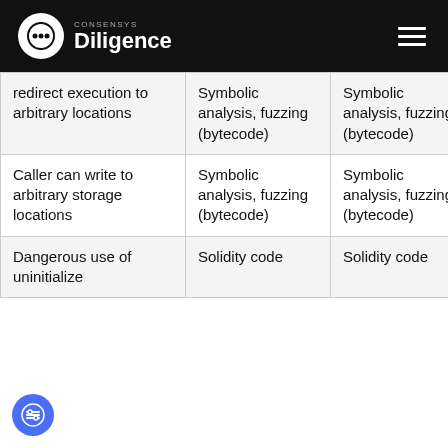CONSENSYS Diligence
|  |  |  |  |
| --- | --- | --- | --- |
| redirect execution to arbitrary locations | Symbolic analysis, fuzzing (bytecode) | Symbolic analysis, fuzzing (bytecode) | ✓ |
| Caller can write to arbitrary storage locations | Symbolic analysis, fuzzing (bytecode) | Symbolic analysis, fuzzing (bytecode) | ✓ |
| Dangerous use of uninitialize | Solidity code | Solidity code | ✓ |